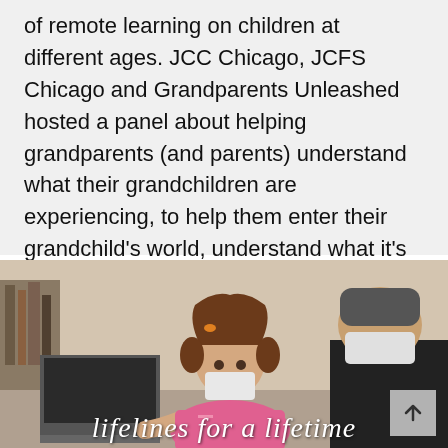of remote learning on children at different ages. JCC Chicago, JCFS Chicago and Grandparents Unleashed hosted a panel about helping grandparents (and parents) understand what their grandchildren are experiencing, to help them enter their grandchild's world, understand what it's like for them now and explore…
[Figure (photo): A young girl in a pink shirt and face mask sits at a laptop computer, with an older person wearing a black shirt and face mask partially visible in the foreground. Text overlay at the bottom reads 'Lifelines for a Lifetime' in white italic script.]